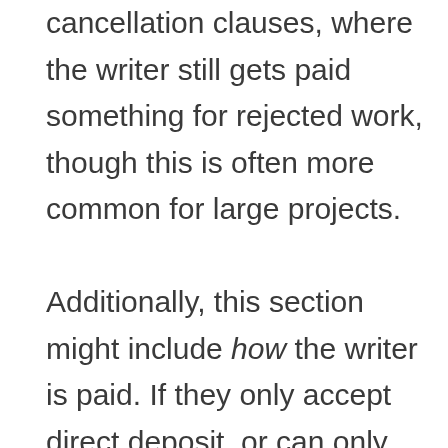cancellation clauses, where the writer still gets paid something for rejected work, though this is often more common for large projects.

Additionally, this section might include how the writer is paid. If they only accept direct deposit, or can only work through PayPal, or they prefer Venmo or something, it can be included in the contract.

Other details that can go into this section can include what to do if a writer needs to buy a resource for your project, or scaled